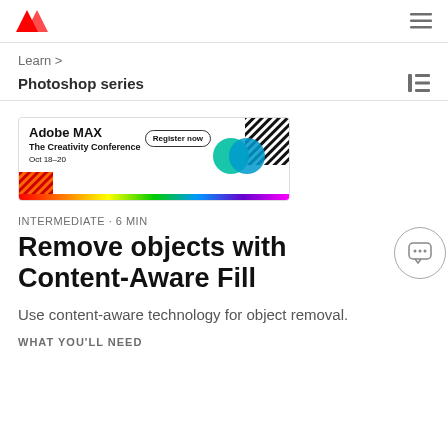Adobe logo | navigation icon
Learn >
Photoshop series
[Figure (illustration): Adobe MAX - The Creativity Conference banner ad. Text: 'Adobe MAX The Creativity Conference Oct 18-20'. Button: 'Register now'. Graphic shows geometric shapes and patterns with a rainbow color bar at bottom.]
INTERMEDIATE · 6 MIN
Remove objects with Content-Aware Fill
Use content-aware technology for object removal.
WHAT YOU'LL NEED